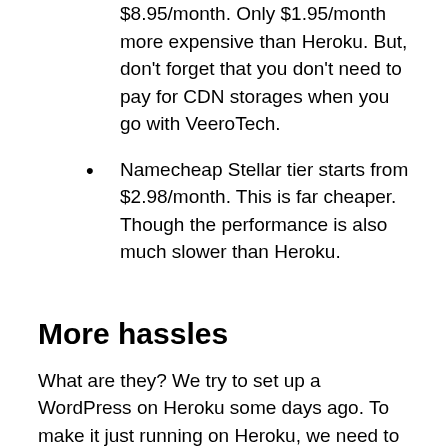$8.95/month. Only $1.95/month more expensive than Heroku. But, don’t forget that you don’t need to pay for CDN storages when you go with VeeroTech.
Namecheap Stellar tier starts from $2.98/month. This is far cheaper. Though the performance is also much slower than Heroku.
More hassles
What are they? We try to set up a WordPress on Heroku some days ago. To make it just running on Heroku, we need to set up everything